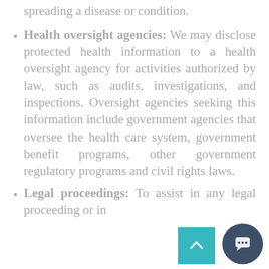spreading a disease or condition.
Health oversight agencies: We may disclose protected health information to a health oversight agency for activities authorized by law, such as audits, investigations, and inspections. Oversight agencies seeking this information include government agencies that oversee the health care system, government benefit programs, other government regulatory programs and civil rights laws.
Legal proceedings: To assist in any legal proceeding or in